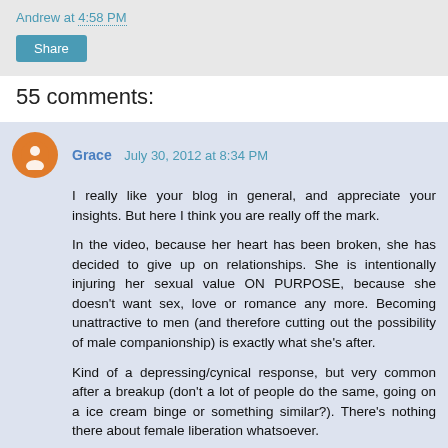Andrew at 4:58 PM
Share
55 comments:
Grace  July 30, 2012 at 8:34 PM
I really like your blog in general, and appreciate your insights. But here I think you are really off the mark.

In the video, because her heart has been broken, she has decided to give up on relationships. She is intentionally injuring her sexual value ON PURPOSE, because she doesn't want sex, love or romance any more. Becoming unattractive to men (and therefore cutting out the possibility of male companionship) is exactly what she's after.

Kind of a depressing/cynical response, but very common after a breakup (don't a lot of people do the same, going on a ice cream binge or something similar?). There's nothing there about female liberation whatsoever.